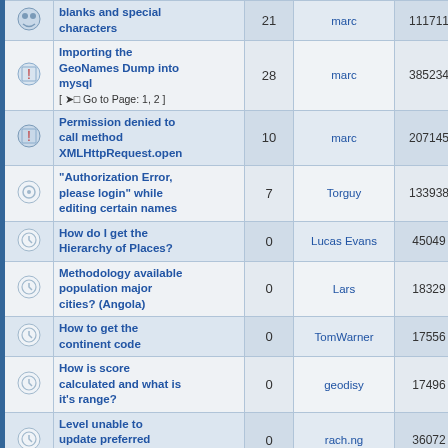| Icon | Topic | Replies | Author | Views | Last Post |
| --- | --- | --- | --- | --- | --- |
|  | blanks and special characters | 21 | marc | 111711 | hm |
|  | Importing the GeoNames Dump into mysql
[ → Go to Page: 1, 2 ] | 28 | marc | 385234 | 03/10/20
dungnvp |
|  | Permission denied to call method XMLHttpRequest.open | 10 | marc | 207145 | 09/08/20
ma |
|  | "Authorization Error, please login" while editing certain names | 7 | Torguy | 133938 | 04/12/20
adre |
|  | How do I get the Hierarchy of Places? | 0 | Lucas Evans | 45049 | 13/11/20
Lucas |
|  | Methodology available population major cities? (Angola) | 0 | Lars | 18329 | 04/11/20
La |
|  | How to get the continent code | 0 | TomWarner | 17556 | 04/11/20
TomW |
|  | How is score calculated and what is it's range? | 0 | geodisy | 17496 | 04/11/20
geo |
|  | Level unable to update preferred name | 0 | rach.ng | 36072 | 27/07/20
rach |
|  | Geonames username | 1 | StickyDigits | 45900 | 13/07/20
fdem |
|  | The record you want to edit is locked for updates for userlevel1 | 5 | rcirmira | 120268 | 13/07/20
ain |